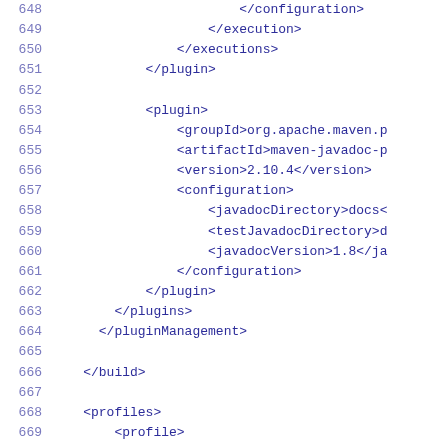Code listing lines 648-669: XML Maven POM configuration snippet
648  </configuration>
649      </execution>
650    </executions>
651  </plugin>
652
653  <plugin>
654      <groupId>org.apache.maven.p
655      <artifactId>maven-javadoc-p
656      <version>2.10.4</version>
657      <configuration>
658          <javadocDirectory>docs<
659          <testJavadocDirectory>d
660          <javadocVersion>1.8</ja
661      </configuration>
662  </plugin>
663    </plugins>
664      </pluginManagement>
665
666      </build>
667
668      <profiles>
669          <profile>